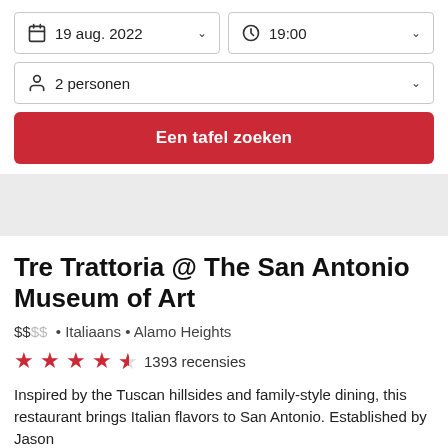[Figure (screenshot): Date picker dropdown showing '19 aug. 2022' with calendar icon and chevron]
[Figure (screenshot): Time picker dropdown showing '19:00' with clock icon and chevron]
[Figure (screenshot): Party size dropdown showing '2 personen' with person icon and chevron]
Een tafel zoeken
Tre Trattoria @ The San Antonio Museum of Art
$$¢¢ • Italiaans • Alamo Heights
1393 recensies
Inspired by the Tuscan hillsides and family-style dining, this restaurant brings Italian flavors to San Antonio. Established by Jason